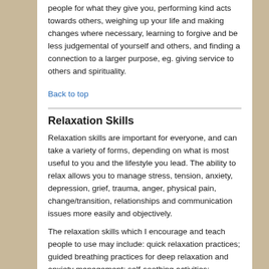people for what they give you, performing kind acts towards others, weighing up your life and making changes where necessary, learning to forgive and be less judgemental of yourself and others, and finding a connection to a larger purpose, eg. giving service to others and spirituality.
Back to top
Relaxation Skills
Relaxation skills are important for everyone, and can take a variety of forms, depending on what is most useful to you and the lifestyle you lead. The ability to relax allows you to manage stress, tension, anxiety, depression, grief, trauma, anger, physical pain, change/transition, relationships and communication issues more easily and objectively.
The relaxation skills which I encourage and teach people to use may include: quick relaxation practices; guided breathing practices for deep relaxation and anxiety management; self-soothing activities; pleasurable and fun activities; physical activities which